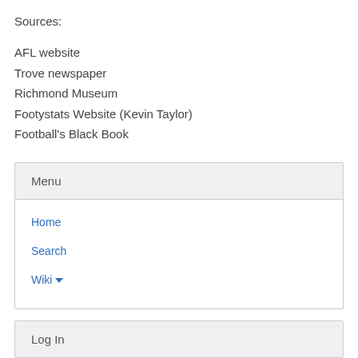Sources:
AFL website
Trove newspaper
Richmond Museum
Footystats Website (Kevin Taylor)
Football's Black Book
Menu
Home
Search
Wiki ▾
Log In